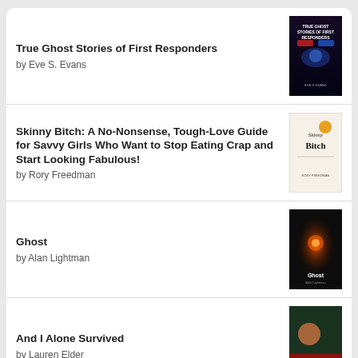True Ghost Stories of First Responders by Eve S. Evans
Skinny Bitch: A No-Nonsense, Tough-Love Guide for Savvy Girls Who Want to Stop Eating Crap and Start Looking Fabulous! by Rory Freedman
Ghost by Alan Lightman
And I Alone Survived by Lauren Elder
I Never Believed in Ghosts Until . . . by USA Weekend
[Figure (logo): Goodreads logo in a rounded rectangle button]